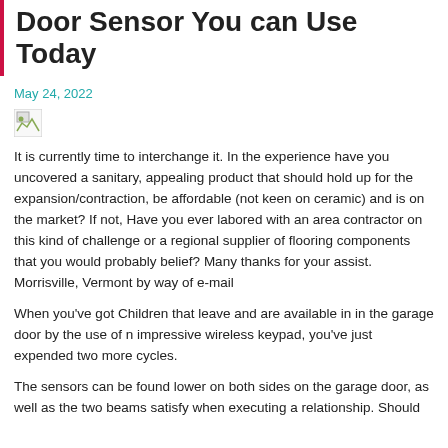Door Sensor You can Use Today
May 24, 2022
[Figure (photo): Broken/missing image placeholder]
It is currently time to interchange it. In the experience have you uncovered a sanitary, appealing product that should hold up for the expansion/contraction, be affordable (not keen on ceramic) and is on the market? If not, Have you ever labored with an area contractor on this kind of challenge or a regional supplier of flooring components that you would probably belief? Many thanks for your assist. Morrisville, Vermont by way of e-mail
When you've got Children that leave and are available in in the garage door by the use of n impressive wireless keypad, you've just expended two more cycles.
The sensors can be found lower on both sides on the garage door, as well as the two beams satisfy when executing a relationship. Should